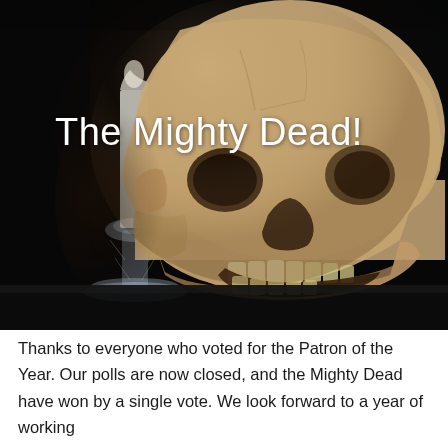[Figure (photo): A photograph of a human skull with open jaw, displayed next to a white candle in a glass crystal candlestick holder, against a dark/black background. The skull is light tan/brown and takes up most of the frame. White text overlay reads 'The Mighty Dead!']
Thanks to everyone who voted for the Patron of the Year. Our polls are now closed, and the Mighty Dead have won by a single vote. We look forward to a year of working